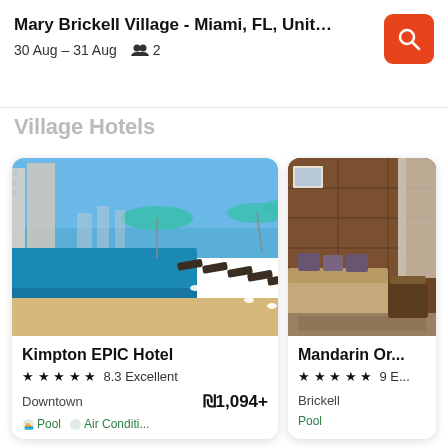Mary Brickell Village - Miami, FL, United Stat... | 30 Aug – 31 Aug | 2 guests
Village Hotels
[Figure (photo): Rooftop infinity pool with lounge chairs and teal umbrellas overlooking Miami skyline on a sunny day — Kimpton EPIC Hotel]
Kimpton EPIC Hotel
★★★★★ 8.3 Excellent
Downtown  ₪1,094+
🏊 Pool  ❄ Air Conditi...
[Figure (photo): Luxury hotel room interior with warm wood paneling, beige sofa, decorative pillows, and large curtained windows — Mandarin Oriental]
Mandarin Or...
★★★★★ 9 E...
Brickell
🏊 Pool